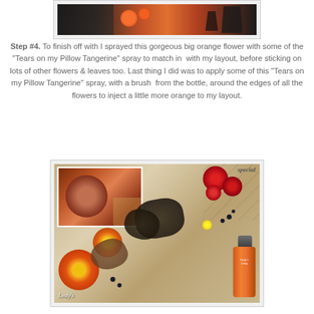[Figure (photo): Top partial photo showing orange flowers and dark decorative elements on a scrapbook layout]
Step #4.  To finish off with I sprayed this gorgeous big orange flower with some of the "Tears on my Pillow Tangerine" spray to match in  with my layout, before sticking on lots of other flowers & leaves too. Last thing I did was to apply some of this "Tears on my Pillow Tangerine" spray, with a brush  from the bottle, around the edges of all the flowers to inject a little more orange to my layout.
[Figure (photo): Bottom photo showing a scrapbook layout with orange and red flowers, dark foliage, Lindy's spray bottle, and decorative elements. Lindy's branding visible in bottom left corner.]